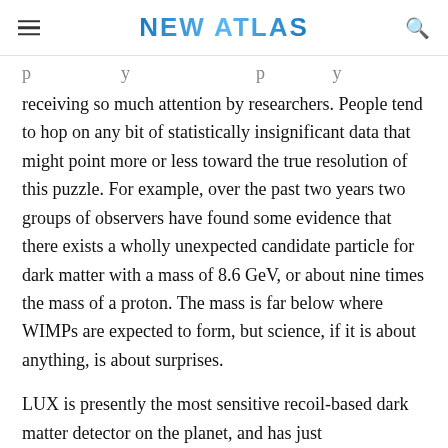NEW ATLAS
p…y … p…y receiving so much attention by researchers. People tend to hop on any bit of statistically insignificant data that might point more or less toward the true resolution of this puzzle. For example, over the past two years two groups of observers have found some evidence that there exists a wholly unexpected candidate particle for dark matter with a mass of 8.6 GeV, or about nine times the mass of a proton. The mass is far below where WIMPs are expected to form, but science, if it is about anything, is about surprises.
LUX is presently the most sensitive recoil-based dark matter detector on the planet, and has just